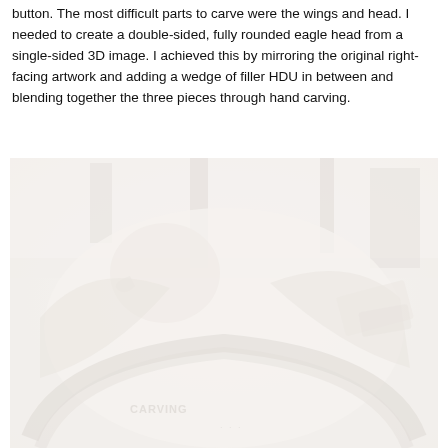button. The most difficult parts to carve were the wings and head. I needed to create a double-sided, fully rounded eagle head from a single-sided 3D image. I achieved this by mirroring the original right-facing artwork and adding a wedge of filler HDU in between and blending together the three pieces through hand carving.
[Figure (photo): A faded/washed-out photo showing a carved eagle being worked on, with tools and workshop materials visible. The carving shows an eagle figure with spread wings and text visible at the bottom of the piece.]